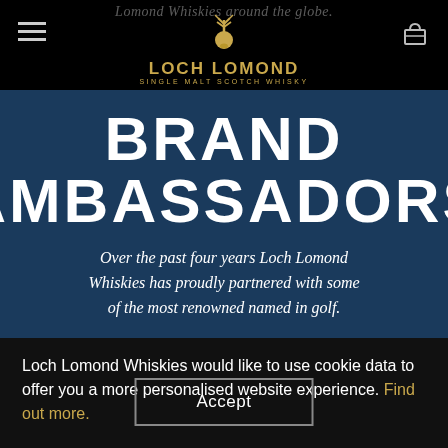Lomond Whiskies around the globe.
[Figure (logo): Loch Lomond Single Malt Scotch Whisky logo with stag illustration]
BRAND AMBASSADORS
Over the past four years Loch Lomond Whiskies has proudly partnered with some of the most renowned named in golf.
Loch Lomond Whiskies would like to use cookie data to offer you a more personalised website experience. Find out more.